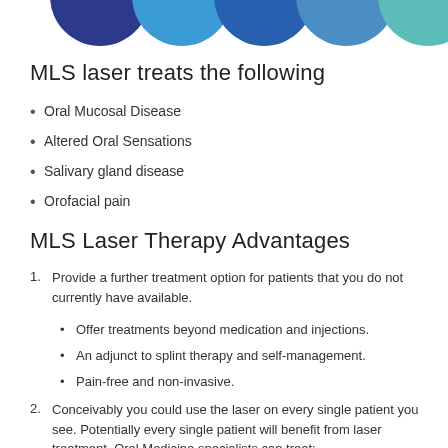[Figure (illustration): Five partially visible circles in shades of blue and teal arranged in a horizontal row at the top of the page]
MLS laser treats the following
Oral Mucosal Disease
Altered Oral Sensations
Salivary gland disease
Orofacial pain
MLS Laser Therapy Advantages
Provide a further treatment option for patients that you do not currently have available.
Offer treatments beyond medication and injections.
An adjunct to splint therapy and self-management.
Pain-free and non-invasive.
Conceivably you could use the laser on every single patient you see. Potentially every single patient will benefit from laser treatment. Oral Medicine specialists can treat: